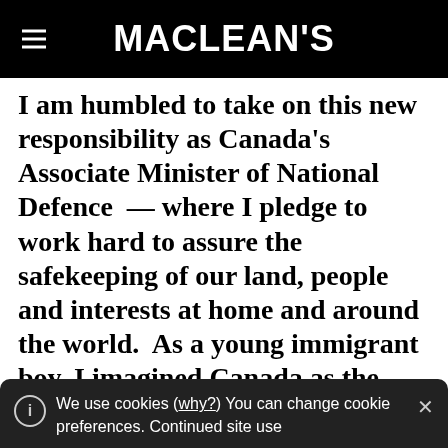MACLEAN'S
I am humbled to take on this new responsibility as Canada's Associate Minister of National Defence  — where I pledge to work hard to assure the safekeeping of our land, people and interests at home and around the world.  As a young immigrant boy, I imagined Canada as the great northern frontier – a country defined by its majestic northern beauty, its immense resources, rich traditions and youthful communities.
We use cookies (why?) You can change cookie preferences. Continued site use